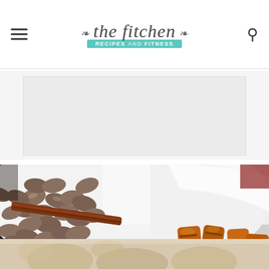the fitchen | RECIPES and FITNESS
[Figure (screenshot): Advertisement placeholder block with light gray background]
[Figure (photo): Close-up photo of a dish with cashews, a cinnamon stick, and roasted sweet potato chunks on a white plate]
[Figure (photo): Partial view of another food photo at the bottom of the page]